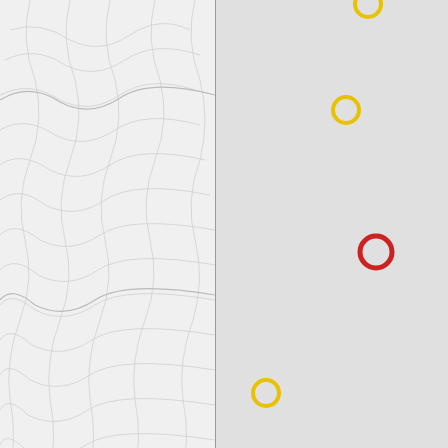[Figure (map): Topographic map split view. Left half shows white/light gray topo contour lines over terrain. Right half shows a gray basemap with yellow circle markers (Other Peaks) and one red circle marker (Sing Peak) at various locations. A scale bar shows 1 km / 3000 ft. Zoom in (+) and zoom out (-) buttons appear in the upper right of the map area. Attribution text reads: Leaflet | CT:Basemap © CalTopo]
○ Sing Peak   ○ Other Peaks
Click Here for a Full Screen Map
|  |  |
| --- | --- |
| Web Map Links | Peakfinder Panorama  GeoHack  Links  CalTopo  MyTopo  Bing Maps  Google Maps  Open Street Map |